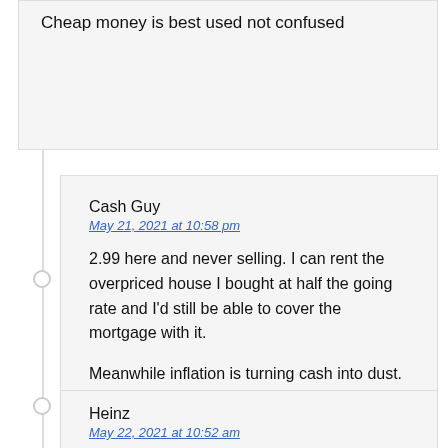Cheap money is best used not confused
Cash Guy
May 21, 2021 at 10:58 pm

2.99 here and never selling. I can rent the overpriced house I bought at half the going rate and I'd still be able to cover the mortgage with it.

Meanwhile inflation is turning cash into dust.
Heinz
May 22, 2021 at 10:52 am